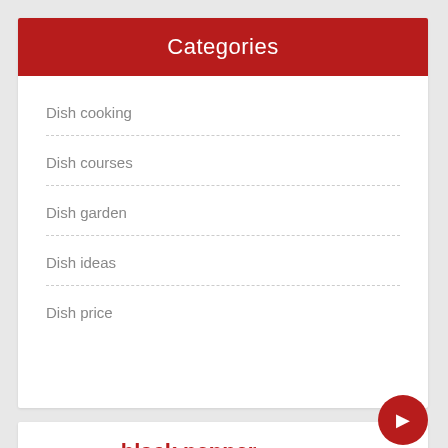Categories
Dish cooking
Dish courses
Dish garden
Dish ideas
Dish price
baking sheet  black pepper  bring boil  cut inch